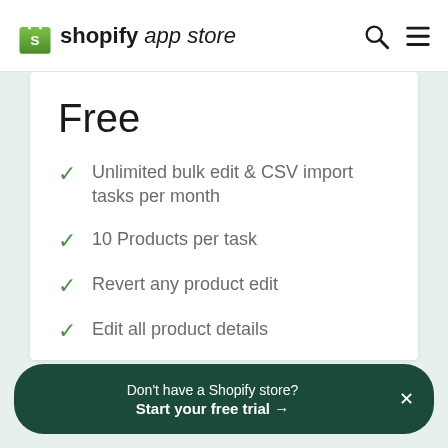shopify app store
Free
Unlimited bulk edit & CSV import tasks per month
10 Products per task
Revert any product edit
Edit all product details
30 day backup
Don't have a Shopify store? Start your free trial →